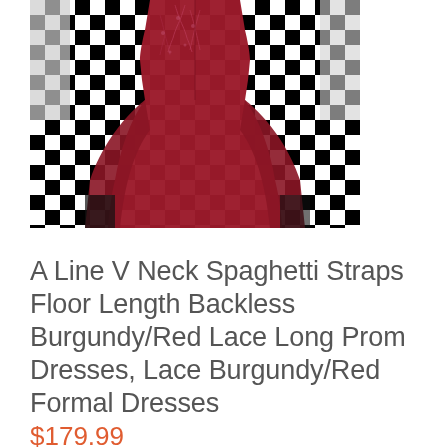[Figure (photo): A burgundy/red lace floor-length prom dress with spaghetti straps and a backless design, photographed from the back on a black and white checkerboard floor.]
A Line V Neck Spaghetti Straps Floor Length Backless Burgundy/Red Lace Long Prom Dresses, Lace Burgundy/Red Formal Dresses
$179.99